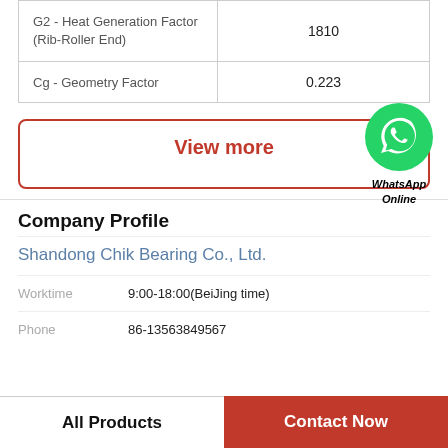| Parameter | Value |
| --- | --- |
| G2 - Heat Generation Factor (Rib-Roller End) | 1810 |
| Cg - Geometry Factor | 0.223 |
View more
[Figure (logo): WhatsApp green phone icon with label 'WhatsApp Online']
Company Profile
Shandong Chik Bearing Co., Ltd.
Worktime  9:00-18:00(BeiJing time)
Phone  86-13563849567
All Products   Contact Now